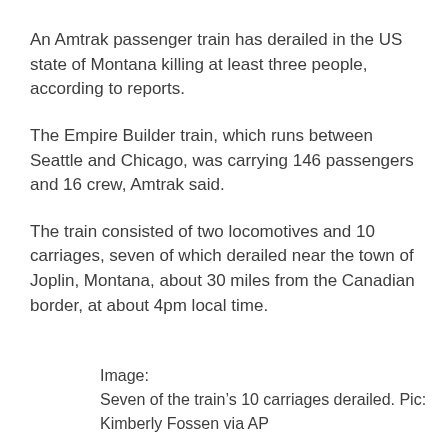An Amtrak passenger train has derailed in the US state of Montana killing at least three people, according to reports.
The Empire Builder train, which runs between Seattle and Chicago, was carrying 146 passengers and 16 crew, Amtrak said.
The train consisted of two locomotives and 10 carriages, seven of which derailed near the town of Joplin, Montana, about 30 miles from the Canadian border, at about 4pm local time.
Image:
Seven of the train’s 10 carriages derailed. Pic: Kimberly Fossen via AP